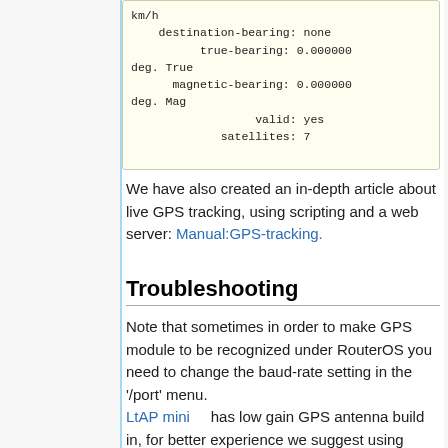km/h
    destination-bearing: none
          true-bearing: 0.000000 deg. True
      magnetic-bearing: 0.000000 deg. Mag
                  valid: yes
             satellites: 7
We have also created an in-depth article about live GPS tracking, using scripting and a web server: Manual:GPS-tracking.
Troubleshooting
Note that sometimes in order to make GPS module to be recognized under RouterOS you need to change the baud-rate setting in the '/port' menu.
LtAP mini     has low gain GPS antenna build in, for better experience we suggest using additional external antenna
Switch between internal and external antennas under GPS menu: